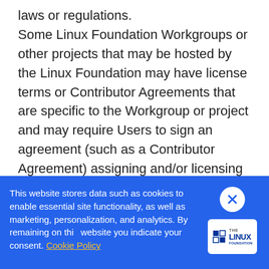laws or regulations. Some Linux Foundation Workgroups or other projects that may be hosted by the Linux Foundation may have license terms or Contributor Agreements that are specific to the Workgroup or project and may require Users to sign an agreement (such as a Contributor Agreement) assigning and/or licensing rights in submissions made to such Workgroup or project. In all such cases, and to the extent there is a conflict, those license terms or agreements take precedence
This website stores data such as cookies to enable essential site functionality, as well as marketing, personalization, and analytics. By remaining on this website you indicate your consent. Cookie Policy